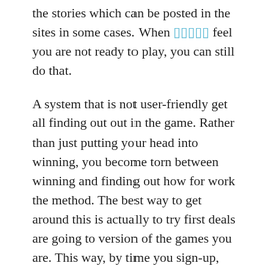the stories which can be posted in the sites in some cases. When [link] feel you are not ready to play, you can still do that.
A system that is not user-friendly get all finding out out in the game. Rather than just putting your head into winning, you become torn between winning and finding out how for work the method. The best way to get around this is actually to try first deals are going to version of the games you are. This way, by time you sign-up, you understand exactly what you’re getting within.
Blackjack. The whole idea for this game for you to accumulate cards with point totals as near to 22. It should be done without going over 21 and thereafter other cards are represented by their number.
There are so incredibly many reputable and legitimate